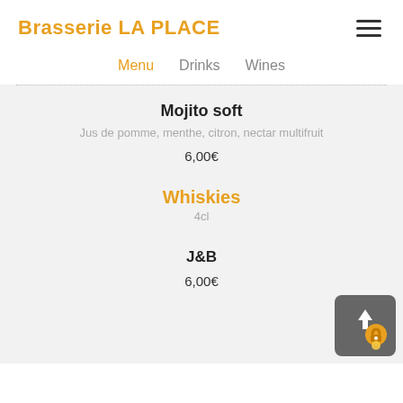Brasserie LA PLACE
Menu | Drinks | Wines
Mojito soft
Jus de pomme, menthe, citron, nectar multifruit
6,00€
Whiskies
4cl
J&B
6,00€